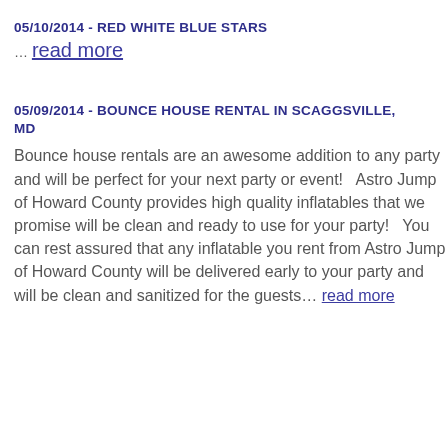05/10/2014 - RED WHITE BLUE STARS
… read more
05/09/2014 - BOUNCE HOUSE RENTAL IN SCAGGSVILLE, MD
Bounce house rentals are an awesome addition to any party and will be perfect for your next party or event!   Astro Jump of Howard County provides high quality inflatables that we promise will be clean and ready to use for your party!   You can rest assured that any inflatable you rent from Astro Jump of Howard County will be delivered early to your party and will be clean and sanitized for the guests… read more